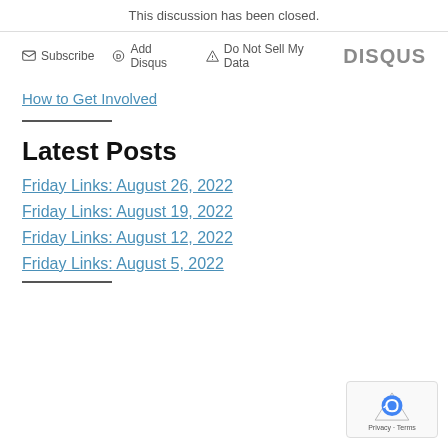This discussion has been closed.
[Figure (other): Disqus comment bar with Subscribe, Add Disqus, Do Not Sell My Data options and DISQUS logo]
How to Get Involved
Latest Posts
Friday Links: August 26, 2022
Friday Links: August 19, 2022
Friday Links: August 12, 2022
Friday Links: August 5, 2022
[Figure (other): reCAPTCHA privacy badge with Google reCAPTCHA logo, Privacy and Terms links]